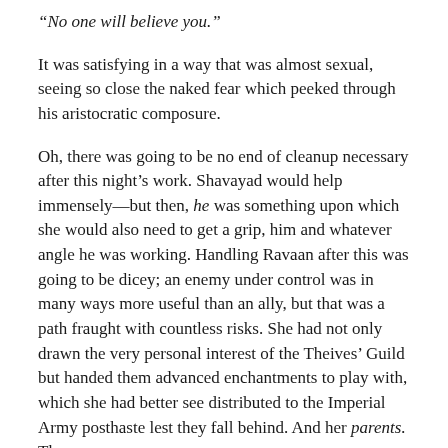“No one will believe you.”
It was satisfying in a way that was almost sexual, seeing so close the naked fear which peeked through his aristocratic composure.
Oh, there was going to be no end of cleanup necessary after this night’s work. Shavayad would help immensely—but then, he was something upon which she would also need to get a grip, him and whatever angle he was working. Handling Ravaan after this was going to be dicey; an enemy under control was in many ways more useful than an ally, but that was a path fraught with countless risks. She had not only drawn the very personal interest of the Theives’ Guild but handed them advanced enchantments to play with, which she had better see distributed to the Imperial Army posthaste lest they fall behind. And her parents. They